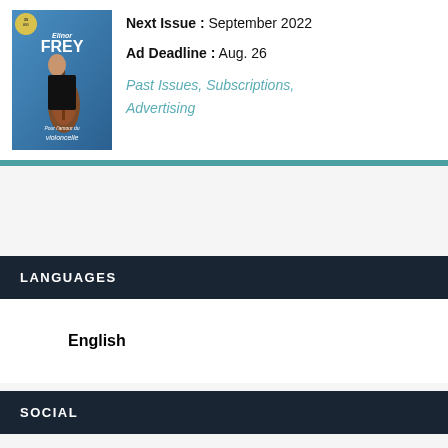[Figure (illustration): Magazine cover featuring Elinor Frey with a cello, text reads 'Elinor FREY Pour l'amour du violoncelle']
Next Issue : September 2022
Ad Deadline : Aug. 26
Past Issues, Subscriptions, Advertising
LANGUAGES
English
SOCIAL